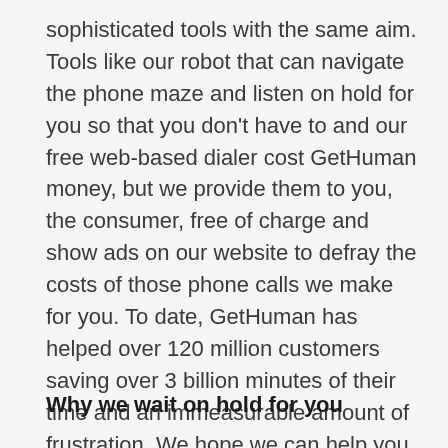sophisticated tools with the same aim. Tools like our robot that can navigate the phone maze and listen on hold for you so that you don't have to and our free web-based dialer cost GetHuman money, but we provide them to you, the consumer, free of charge and show ads on our website to defray the costs of those phone calls we make for you. To date, GetHuman has helped over 120 million customers saving over 3 billion minutes of their time and an immeasurable amount of frustration. We hope we can help you, too.
Why we wait on hold for you